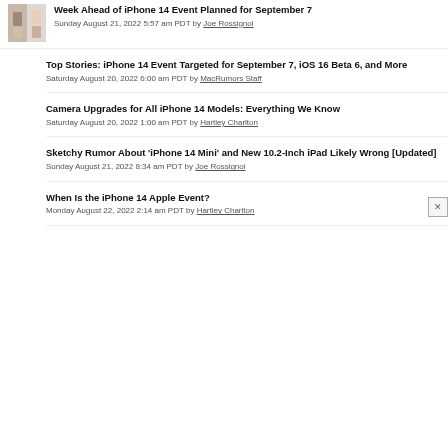Week Ahead of iPhone 14 Event Planned for September 7 — Sunday August 21, 2022 5:57 am PDT by Joe Rossignol
Top Stories: iPhone 14 Event Targeted for September 7, iOS 16 Beta 6, and More — Saturday August 20, 2022 6:00 am PDT by MacRumors Staff
Camera Upgrades for All iPhone 14 Models: Everything We Know — Saturday August 20, 2022 1:00 am PDT by Hartley Charlton
Sketchy Rumor About 'iPhone 14 Mini' and New 10.2-Inch iPad Likely Wrong [Updated] — Sunday August 21, 2022 8:34 am PDT by Joe Rossignol
When Is the iPhone 14 Apple Event? — Monday August 22, 2022 2:14 am PDT by Hartley Charlton